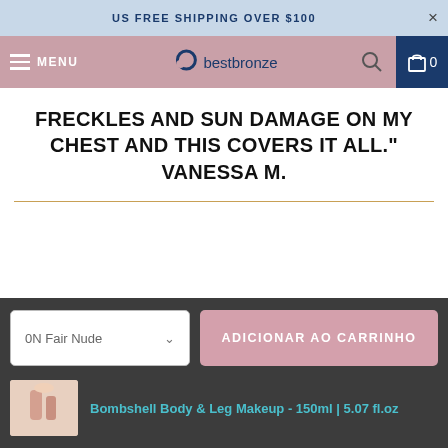US FREE SHIPPING OVER $100
[Figure (screenshot): Navigation bar with hamburger menu, MENU text, bestbronze logo, search icon, and cart icon with 0]
FRECKLES AND SUN DAMAGE ON MY CHEST AND THIS COVERS IT ALL." VANESSA M.
[Figure (screenshot): Bottom sticky bar with shade selector showing '0N Fair Nude' with dropdown arrow and 'ADICIONAR AO CARRINHO' pink button, plus product thumbnail and link 'Bombshell Body & Leg Makeup - 150ml | 5.07 fl.oz']